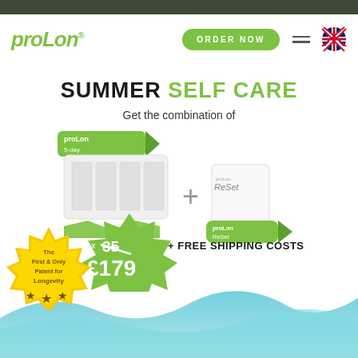[Figure (screenshot): ProLon website navigation bar with logo, ORDER NOW button, hamburger menu, and UK flag icon]
SUMMER SELF CARE
Get the combination of
[Figure (photo): ProLon 5-day kit box plus ProLon ReSet product combo with + sign between them]
[Figure (infographic): Green starburst badge showing crossed out price and £179 sale price]
+ FREE SHIPPING COSTS
[Figure (infographic): Gold badge reading 'The First & Only Patent for Longevity' with three stars]